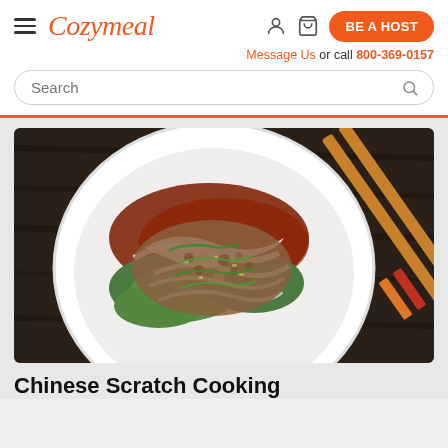Cozymeal
Message Us or call 800-369-0157
Search
[Figure (photo): A white bowl of Chinese noodle dish with minced meat, green vegetables, white sauce drizzle, and dark sauce, with wooden chopsticks resting on a dark wooden surface in the background.]
Chinese Scratch Cooking